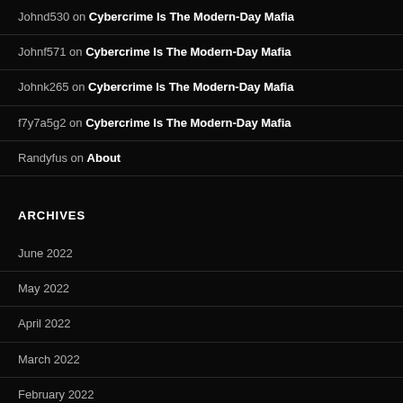Johnd530 on Cybercrime Is The Modern-Day Mafia
Johnf571 on Cybercrime Is The Modern-Day Mafia
Johnk265 on Cybercrime Is The Modern-Day Mafia
f7y7a5g2 on Cybercrime Is The Modern-Day Mafia
Randyfus on About
ARCHIVES
June 2022
May 2022
April 2022
March 2022
February 2022